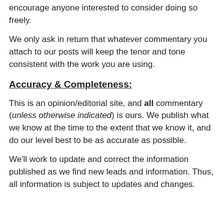encourage anyone interested to consider doing so freely.
We only ask in return that whatever commentary you attach to our posts will keep the tenor and tone consistent with the work you are using.
Accuracy & Completeness:
This is an opinion/editorial site, and all commentary (unless otherwise indicated) is ours. We publish what we know at the time to the extent that we know it, and do our level best to be as accurate as possible.
We'll work to update and correct the information published as we find new leads and information. Thus, all information is subject to updates and changes.